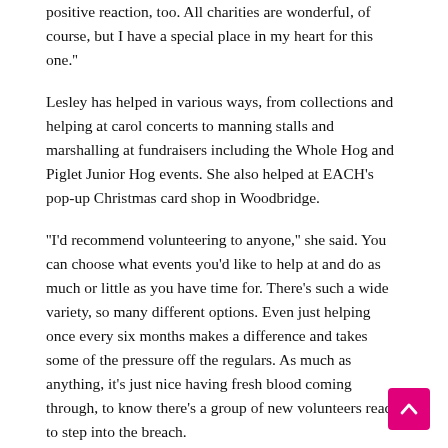positive reaction, too. All charities are wonderful, of course, but I have a special place in my heart for this one."
Lesley has helped in various ways, from collections and helping at carol concerts to manning stalls and marshalling at fundraisers including the Whole Hog and Piglet Junior Hog events. She also helped at EACH's pop-up Christmas card shop in Woodbridge.
"I'd recommend volunteering to anyone," she said. You can choose what events you'd like to help at and do as much or little as you have time for. There's such a wide variety, so many different options. Even just helping once every six months makes a difference and takes some of the pressure off the regulars. As much as anything, it's just nice having fresh blood coming through, to know there's a group of new volunteers ready to step into the breach.